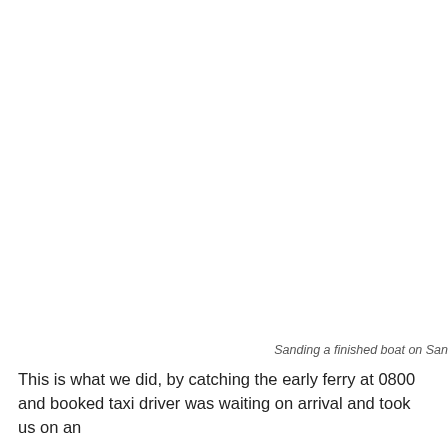Sanding a finished boat on San
This is what we did, by catching the early ferry at 0800 and booked taxi driver was waiting on arrival and took us on an